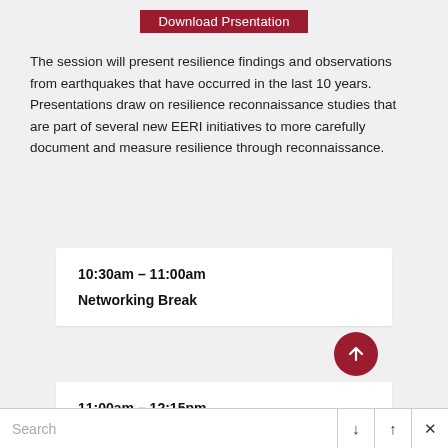Download Prsentation
The session will present resilience findings and observations from earthquakes that have occurred in the last 10 years. Presentations draw on resilience reconnaissance studies that are part of several new EERI initiatives to more carefully document and measure resilience through reconnaissance.
10:30am – 11:00am
Networking Break
11:00am – 12:15pm